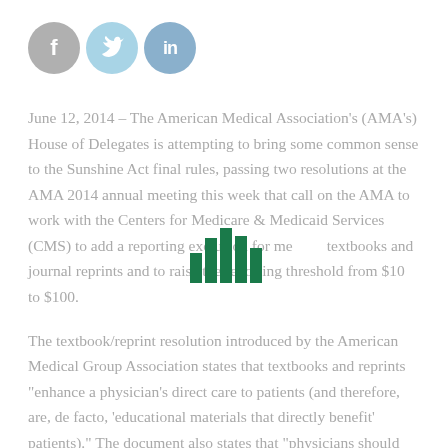[Figure (logo): Three social media icons: Facebook (grey circle with f), Twitter (light blue circle with bird), LinkedIn (blue circle with in)]
June 12, 2014 – The American Medical Association's (AMA's) House of Delegates is attempting to bring some common sense to the Sunshine Act final rules, passing two resolutions at the AMA 2014 annual meeting this week that call on the AMA to work with the Centers for Medicare & Medicaid Services (CMS) to add a reporting exclusion for medical textbooks and journal reprints and to raise the reporting threshold from $10 to $100.
[Figure (other): Small vertical bar chart icon/logo overlaid on the text]
The textbook/reprint resolution introduced by the American Medical Group Association states that textbooks and reprints "enhance a physician's direct care to patients (and therefore, are, de facto, 'educational materials that directly benefit' patients)." The document also states that "physicians should have